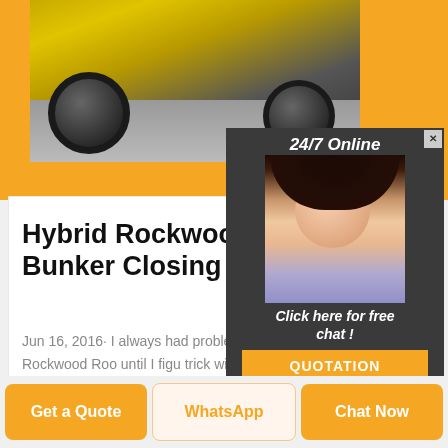[Figure (photo): Photo of a yellow van wheel on a road surface, with orange border frame]
[Figure (photo): Customer service agent popup: woman with headset, 24/7 Online label, Click here for free chat, QUOTATION button]
Hybrid Rockwood Roo Bunker Closing Tips YouTube
Jun 16, 2016· I always had problems closing bunkend on my Rockwood Roo until I figured trick with the exhaust fans. If you have any questions please ...
Get Price
Get a Quote
WhatsApp
Chat Now